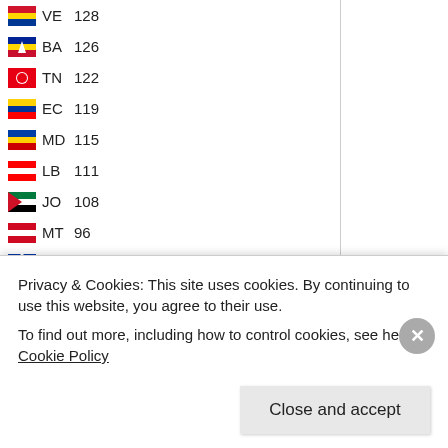| Flag | Code | Count |
| --- | --- | --- |
| 🇻🇪 | VE | 128 |
| 🇧🇦 | BA | 126 |
| 🇹🇳 | TN | 122 |
| 🇪🇨 | EC | 119 |
| 🇲🇩 | MD | 115 |
| 🇱🇧 | LB | 111 |
| 🇯🇴 | JO | 108 |
| 🇲🇹 | MT | 96 |
| 🇵🇷 | PR | 93 |
| 🇳🇵 | NP | 85 |
| 🇦🇱 | AL | 74 |
| 🇹🇹 | TT | 74 |
| 🇹🇿 | TZ | 73 |
| 🇵🇾 | PY | 72 |
| 🇮🇶 | IQ | 70 |
| 🇧🇴 | BO | 69 |
| 🇬🇭 | GH | 67 |
| 🇲🇰 | MK | 67 |
| 🇯🇲 | JM | 64 |
| 🇰🇼 | KW | 61 |
| 🇬🇪 | GE | 61 |
| 🇿🇼 | ZW | 60 |
Privacy & Cookies: This site uses cookies. By continuing to use this website, you agree to their use. To find out more, including how to control cookies, see here: Cookie Policy